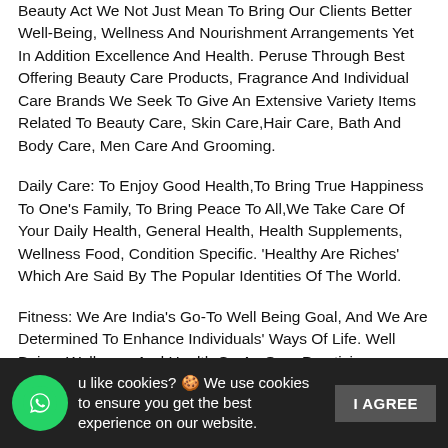Beauty Act We Not Just Mean To Bring Our Clients Better Well-Being, Wellness And Nourishment Arrangements Yet In Addition Excellence And Health. Peruse Through Best Offering Beauty Care Products, Fragrance And Individual Care Brands We Seek To Give An Extensive Variety Items Related To Beauty Care, Skin Care,Hair Care, Bath And Body Care, Men Care And Grooming.
Daily Care: To Enjoy Good Health,To Bring True Happiness To One's Family, To Bring Peace To All,We Take Care Of Your Daily Health, General Health, Health Supplements, Wellness Food, Condition Specific. 'Healthy Are Riches' Which Are Said By The Popular Identities Of The World.
Fitness: We Are India's Go-To Well Being Goal, And We Are Determined To Enhance Individuals' Ways Of Life. Well Being, Wellness, And Health Go As One. Practicing Consistently And Eating A Very Much Adjusted Nutritious Eating Routine With Supplements, For Example, Vitamins And Minerals Can Help Empower You At Work And At Home. We Have An Extensive Exhibit Of Items Like Proteins, Workout Essentials, Nutrition.
Do you like cookies? 🍪 We use cookies to ensure you get the best experience on our website. I AGREE